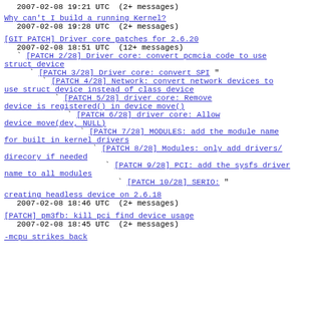2007-02-08 19:21 UTC  (2+ messages)
Why can't I build a running Kernel?
  2007-02-08 19:28 UTC  (2+ messages)
[GIT PATCH] Driver core patches for 2.6.20
  2007-02-08 18:51 UTC  (12+ messages)
  ` [PATCH 2/28] Driver core: convert pcmcia code to use struct device
    ` [PATCH 3/28] Driver core: convert SPI "
      ` [PATCH 4/28] Network: convert network devices to use struct device instead of class device
        ` [PATCH 5/28] driver core: Remove device is registered() in device move()
          ` [PATCH 6/28] driver core: Allow device move(dev, NULL)
            ` [PATCH 7/28] MODULES: add the module name for built in kernel drivers
              ` [PATCH 8/28] Modules: only add drivers/ direcory if needed
                ` [PATCH 9/28] PCI: add the sysfs driver name to all modules
                  ` [PATCH 10/28] SERIO: "
creating headless device on 2.6.18
  2007-02-08 18:46 UTC  (2+ messages)
[PATCH] pm3fb: kill pci find device usage
  2007-02-08 18:45 UTC  (2+ messages)
-mcpu strikes back